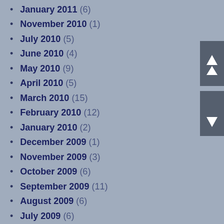January 2011 (6)
November 2010 (1)
July 2010 (5)
June 2010 (4)
May 2010 (9)
April 2010 (5)
March 2010 (15)
February 2010 (12)
January 2010 (2)
December 2009 (1)
November 2009 (3)
October 2009 (6)
September 2009 (11)
August 2009 (6)
July 2009 (6)
June 2009 (9)